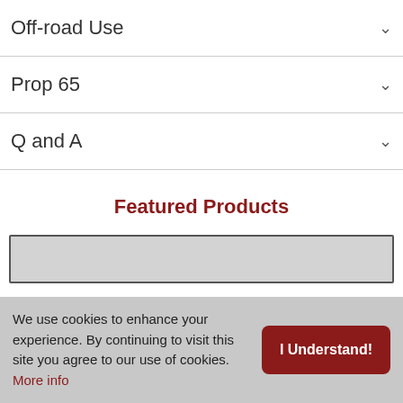Off-road Use
Prop 65
Q and A
Featured Products
[Figure (other): Product card placeholder with grey background]
We use cookies to enhance your experience. By continuing to visit this site you agree to our use of cookies. More info